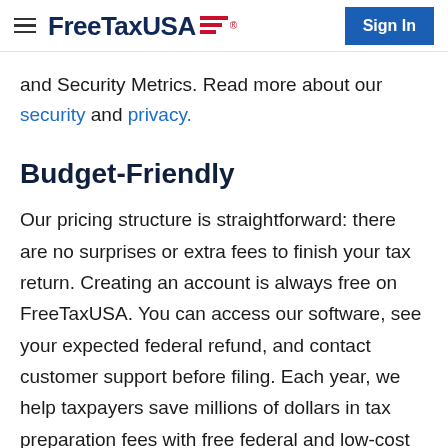FreeTaxUSA® — Sign In
and Security Metrics. Read more about our security and privacy.
Budget-Friendly
Our pricing structure is straightforward: there are no surprises or extra fees to finish your tax return. Creating an account is always free on FreeTaxUSA. You can access our software, see your expected federal refund, and contact customer support before filing. Each year, we help taxpayers save millions of dollars in tax preparation fees with free federal and low-cost